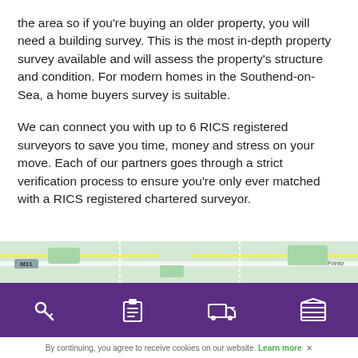the area so if you're buying an older property, you will need a building survey. This is the most in-depth property survey available and will assess the property's structure and condition. For modern homes in the Southend-on-Sea, a home buyers survey is suitable.
We can connect you with up to 6 RICS registered surveyors to save you time, money and stress on your move. Each of our partners goes through a strict verification process to ensure you're only ever matched with a RICS registered chartered surveyor.
[Figure (map): Partial map strip showing road M11 and other map features]
[Figure (other): Purple navigation bar with four icons: key, clipboard, truck, and garage/storage]
By continuing, you agree to receive cookies on our website. Learn more ✕